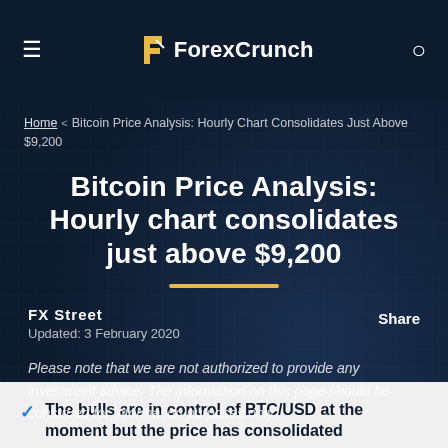ForexCrunch
Home > Bitcoin Price Analysis: Hourly Chart Consolidates Just Above $9,200
Bitcoin Price Analysis: Hourly chart consolidates just above $9,200
FX Street
Updated: 3 February 2020
Share
Please note that we are not authorized to provide any investment advice. The information on this page should be construed for information purposes only.
The bulls are in control of BTC/USD at the moment but the price has consolidated